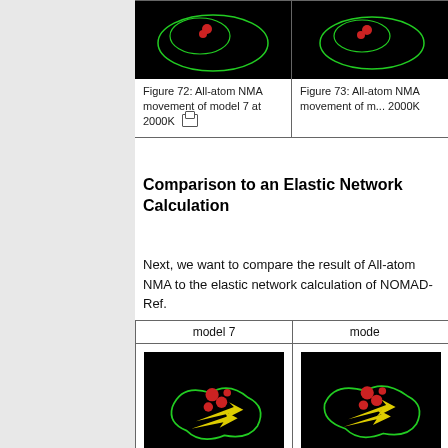[Figure (photo): All-atom NMA movement of model 7 at 2000K - black background molecular visualization]
Figure 72: All-atom NMA movement of model 7 at 2000K
[Figure (photo): All-atom NMA movement of model (partially visible) at 2000K - black background molecular visualization]
Figure 73: All-atom NMA movement of model at 2000K
Comparison to an Elastic Network Calculation
Next, we want to compare the result of All-atom NMA to the elastic network calculation of NOMAD-Ref.
| model 7 | mode... |
| --- | --- |
[Figure (photo): Normalized squared atomic displacements of model 7 - molecular visualization on black background with green outline and yellow arrows]
normalized squared atomic displacments of model 7
[Figure (photo): Normalized squared atomic displacements of model 8 - molecular visualization on black background with green outline and yellow arrows]
normalized squared atomic displacements of model 8